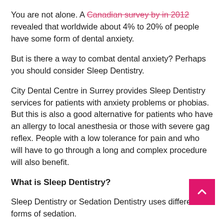You are not alone. A Canadian survey by in 2012 revealed that worldwide about 4% to 20% of people have some form of dental anxiety.
But is there a way to combat dental anxiety? Perhaps you should consider Sleep Dentistry.
City Dental Centre in Surrey provides Sleep Dentistry services for patients with anxiety problems or phobias. But this is also a good alternative for patients who have an allergy to local anesthesia or those with severe gag reflex. People with a low tolerance for pain and who will have to go through a long and complex procedure will also benefit.
What is Sleep Dentistry?
Sleep Dentistry or Sedation Dentistry uses different forms of sedation.
Despite its name, not all types of Sleep Dentistry mean the patient